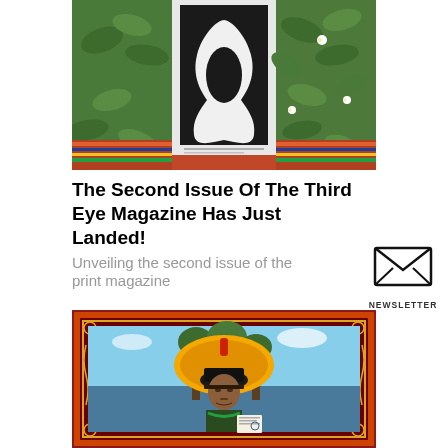[Figure (photo): Three-panel photograph: left panel shows green tropical leaves, center panel shows a black and white art magazine cover with an abstract figure, right panel shows more green tropical leaves with small white flowers, all set on a colorful woven textile background]
The Second Issue Of The Third Eye Magazine Has Just Landed!
Unveiling the second issue of the print magazine
[Figure (illustration): Envelope/mail icon with envelope outline drawing]
NEWSLETTER
[Figure (photo): Portrait of an elderly indigenous man wearing a large yellow feathered headdress and a black hat, holding a document, standing near a lake with trees in the background, framed with an ornate red and gold decorative border]